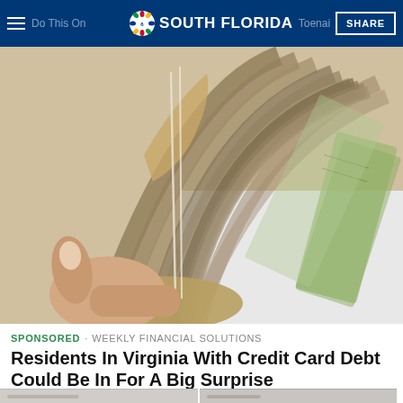NBC 6 South Florida | SHARE
[Figure (photo): Close-up photo of a hand holding a large fan of US dollar bills (mostly $100 bills), fanned out and bound with a rubber band, against a white background with more cash visible.]
SPONSORED · WEEKLY FINANCIAL SOLUTIONS
Residents In Virginia With Credit Card Debt Could Be In For A Big Surprise
[Figure (photo): Two partial thumbnail images side by side at the bottom of the page, appearing to show bathroom/interior scenes.]